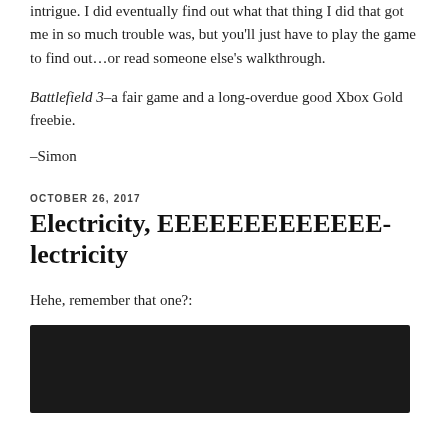intrigue. I did eventually find out what that thing I did that got me in so much trouble was, but you'll just have to play the game to find out…or read someone else's walkthrough.
Battlefield 3–a fair game and a long-overdue good Xbox Gold freebie.
–Simon
OCTOBER 26, 2017
Electricity, EEEEEEEEEEEEE-lectricity
Hehe, remember that one?:
[Figure (screenshot): Dark/black video player embed area]